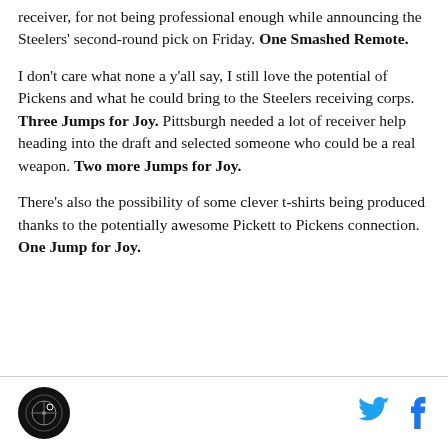receiver, for not being professional enough while announcing the Steelers' second-round pick on Friday. One Smashed Remote.
I don't care what none a y'all say, I still love the potential of Pickens and what he could bring to the Steelers receiving corps. Three Jumps for Joy. Pittsburgh needed a lot of receiver help heading into the draft and selected someone who could be a real weapon. Two more Jumps for Joy.
There's also the possibility of some clever t-shirts being produced thanks to the potentially awesome Pickett to Pickens connection. One Jump for Joy.
Logo and social media icons (Twitter, Facebook)